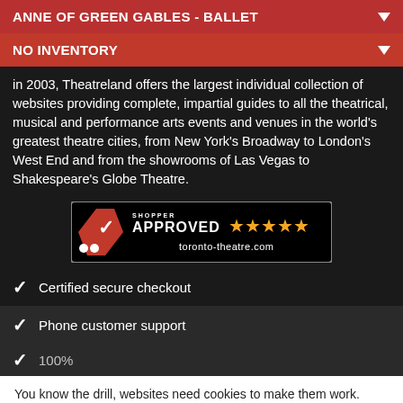ANNE OF GREEN GABLES - BALLET
NO INVENTORY
in 2003, Theatreland offers the largest individual collection of websites providing complete, impartial guides to all the theatrical, musical and performance arts events and venues in the world's greatest theatre cities, from New York's Broadway to London's West End and from the showrooms of Las Vegas to Shakespeare's Globe Theatre.
[Figure (logo): Shopper Approved 5-star badge for toronto-theatre.com]
Certified secure checkout
Phone customer support
You know the drill, websites need cookies to make them work. Details of how we do it here.
Got it!